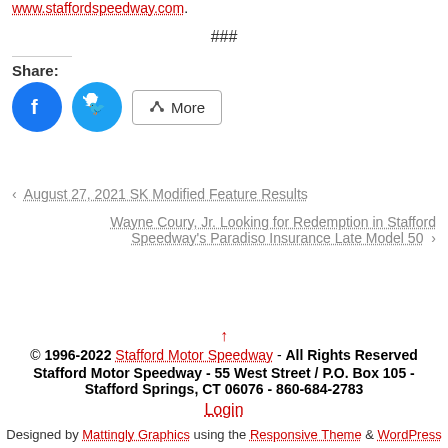www.staffordspeedway.com.
###
Share:
[Figure (other): Social share buttons: Facebook (blue circle), Twitter (blue circle), and More button with share icon]
< August 27, 2021 SK Modified Feature Results
Wayne Coury, Jr. Looking for Redemption in Stafford Speedway's Paradiso Insurance Late Model 50 >
© 1996-2022 Stafford Motor Speedway - All Rights Reserved
Stafford Motor Speedway - 55 West Street / P.O. Box 105 - Stafford Springs, CT 06076 - 860-684-2783
Login
Designed by Mattingly Graphics using the Responsive Theme & WordPress